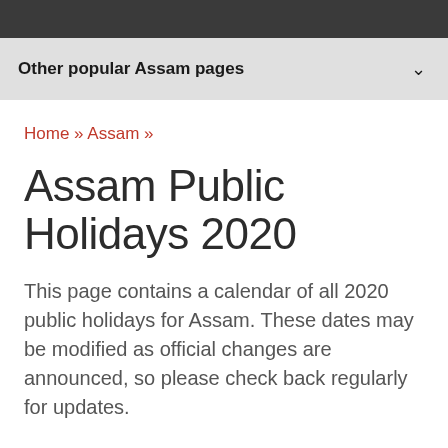Other popular Assam pages
Home » Assam »
Assam Public Holidays 2020
This page contains a calendar of all 2020 public holidays for Assam. These dates may be modified as official changes are announced, so please check back regularly for updates.